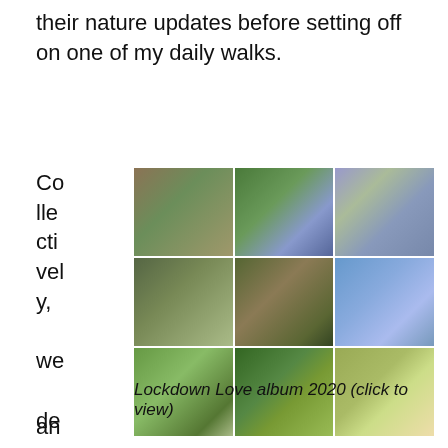their nature updates before setting off on one of my daily walks.
Collectively, we decided to love an
[Figure (photo): 3x3 grid of nature photographs: a grazing pony in a field, bluebells in a woodland, blue flowering shrub, moss-covered tree roots, horses in a field at dusk, a robin on bare branches against blue sky, horse-drawn carriages in a green field, close-up of garden plants with purple flowers, wisteria hanging over a fence]
Lockdown Love album 2020 (click to view)
an